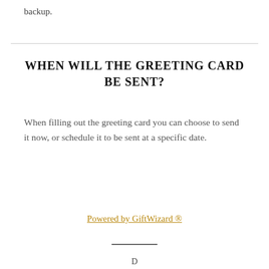backup.
WHEN WILL THE GREETING CARD BE SENT?
When filling out the greeting card you can choose to send it now, or schedule it to be sent at a specific date.
Powered by GiftWizard ®
D